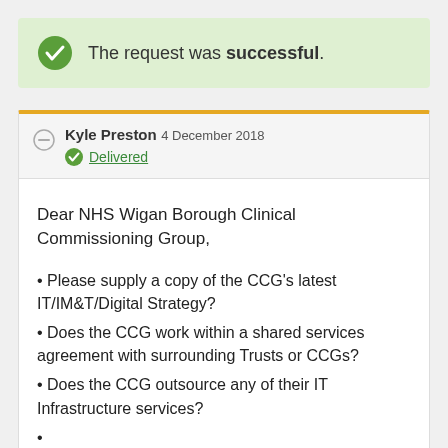The request was successful.
Kyle Preston 4 December 2018
Delivered
Dear NHS Wigan Borough Clinical Commissioning Group,
Please supply a copy of the CCG's latest IT/IM&T/Digital Strategy?
Does the CCG work within a shared services agreement with surrounding Trusts or CCGs?
Does the CCG outsource any of their IT Infrastructure services?